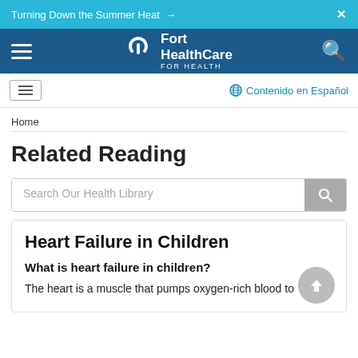Turning Down the Summer Heat →   X
[Figure (logo): Fort HealthCare For Health logo with navigation hamburger menu and search icon on dark blue background]
Contenido en Español
Home
Related Reading
Search Our Health Library
Heart Failure in Children
What is heart failure in children?
The heart is a muscle that pumps oxygen-rich blood to